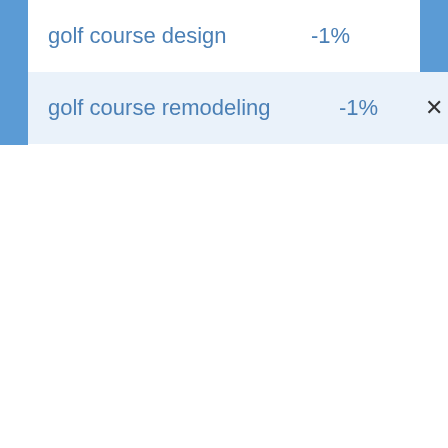golf course design    -1%
golf course remodeling    -1%